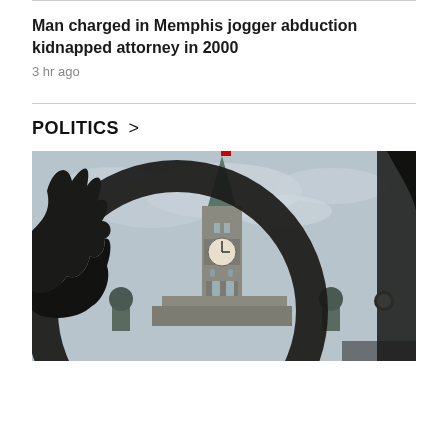Man charged in Memphis jogger abduction kidnapped attorney in 2000
3 hr ago
POLITICS >
[Figure (photo): A clock tower (Parliament Hill Peace Tower, Ottawa) seen through a dark circular iron frame, with a Canadian flag at the top, overcast sky in the background, dark bronze or iron statue elements in the foreground.]